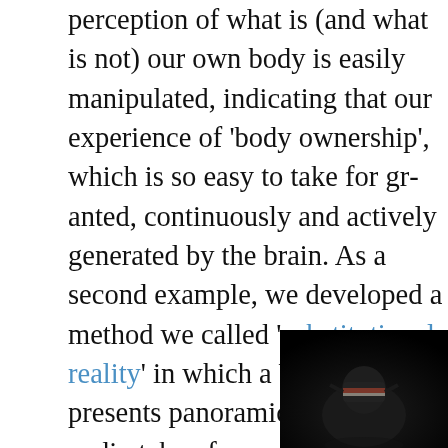perception of what is (and what is not) our own body is easily manipulated, indicating that our experience of 'body ownership', which is so easy to take for granted, is continuously and actively generated by the brain. As a second example, we developed a method we called 'substitutional reality' in which a VR headset presents panoramic video and audio taken from a scene, but manipulated in various ways. The resulting experience is much more immersive than current computer-generated virtual environments and in some cases people cannot distinguish them from actually 'real' environments.
[Figure (photo): Dark image showing what appears to be a person wearing a VR headset, scene is very dark with some colored elements visible]